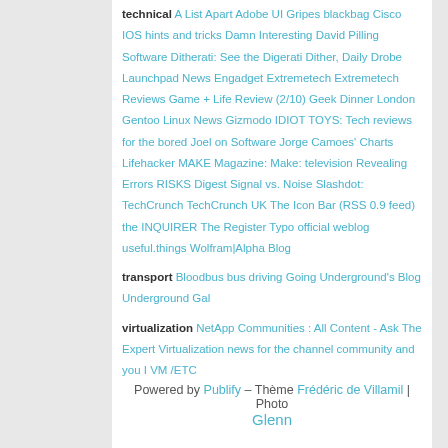technical A List Apart Adobe UI Gripes blackbag Cisco IOS hints and tricks Damn Interesting David Pilling Software Ditherati: See the Digerati Dither, Daily Drobe Launchpad News Engadget Extremetech Extremetech Reviews Game + Life Review (2/10) Geek Dinner London Gentoo Linux News Gizmodo IDIOT TOYS: Tech reviews for the bored Joel on Software Jorge Camoes' Charts Lifehacker MAKE Magazine: Make: television Revealing Errors RISKS Digest Signal vs. Noise Slashdot: TechCrunch TechCrunch UK The Icon Bar (RSS 0.9 feed) the INQUIRER The Register Typo official weblog useful.things Wolfram|Alpha Blog
transport Bloodbus bus driving Going Underground's Blog Underground Gal
virtualization NetApp Communities : All Content - Ask The Expert Virtualization news for the channel community and you I VM /ETC
Powered by Publify – Thème Frédéric de Villamil | Photo Glenn